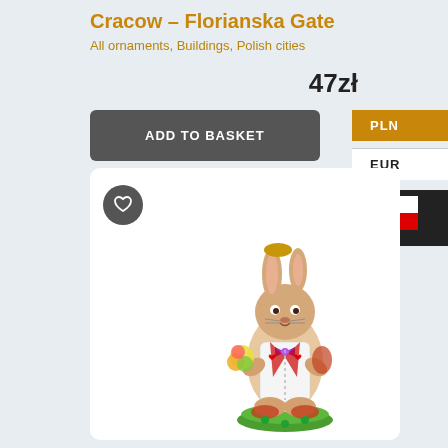Cracow – Florianska Gate
All ornaments, Buildings, Polish cities
47zł
ADD TO BASKET
PLN
EUR
[Figure (illustration): Polish flag icon (white and red horizontal stripes) on dark background]
[Figure (photo): Decorative ornament figurine of a rabbit/bunny holding flowers, wearing a bow tie and red jacket, standing on a green base, colorfully painted]